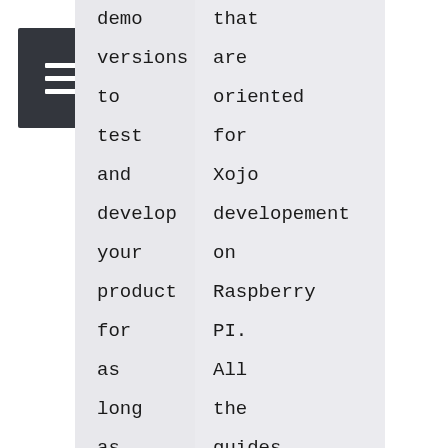[Figure (other): Dark gray hamburger menu icon button]
demo versions to test and develop your product for as long as you like before deciding on purchase
that are oriented for Xojo developement on Raspberry PI. All the guides are free of charge for everyone.